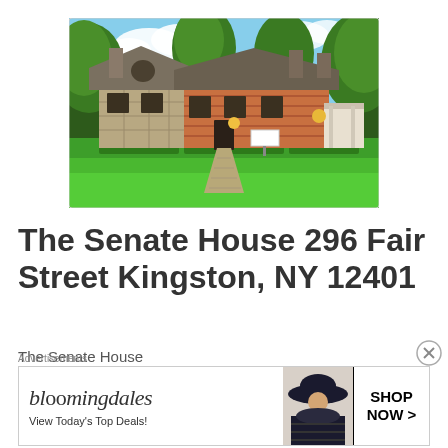[Figure (photo): Photograph of The Senate House, a historic stone and brick building with a steep roof, multiple chimneys, surrounded by large green trees and a well-manicured lawn with a stone pathway leading to the entrance.]
The Senate House 296 Fair Street Kingston, NY 12401
The Senate House
[Figure (infographic): Bloomingdale's advertisement banner. Shows 'bloomingdales' in italic serif font, 'View Today's Top Deals!' text on the left, a photo of a woman in a large black hat in the center, and a 'SHOP NOW >' button on the right.]